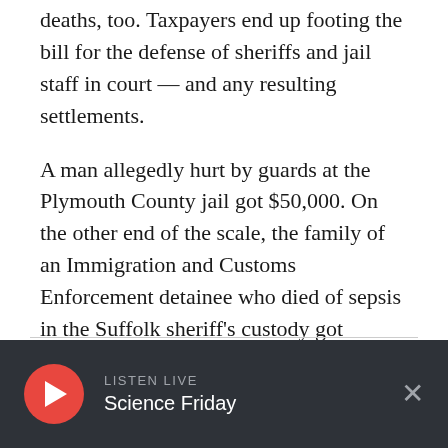deaths, too. Taxpayers end up footing the bill for the defense of sheriffs and jail staff in court — and any resulting settlements.
A man allegedly hurt by guards at the Plymouth County jail got $50,000. On the other end of the scale, the family of an Immigration and Customs Enforcement detainee who died of sepsis in the Suffolk sheriff's custody got $600,000.
But like the deaths themselves, the details of these settlements are murky at best.
LISTEN LIVE Science Friday